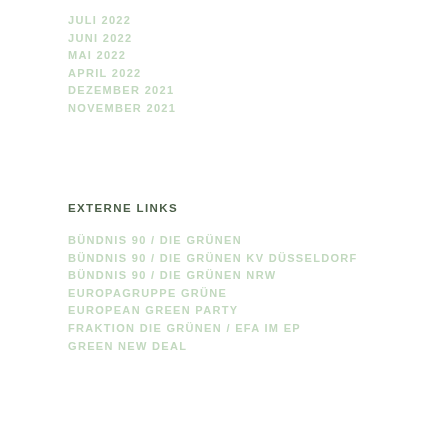JULI 2022
JUNI 2022
MAI 2022
APRIL 2022
DEZEMBER 2021
NOVEMBER 2021
EXTERNE LINKS
BÜNDNIS 90 / DIE GRÜNEN
BÜNDNIS 90 / DIE GRÜNEN KV DÜSSELDORF
BÜNDNIS 90 / DIE GRÜNEN NRW
EUROPAGRUPPE GRÜNE
EUROPEAN GREEN PARTY
FRAKTION DIE GRÜNEN / EFA IM EP
GREEN NEW DEAL